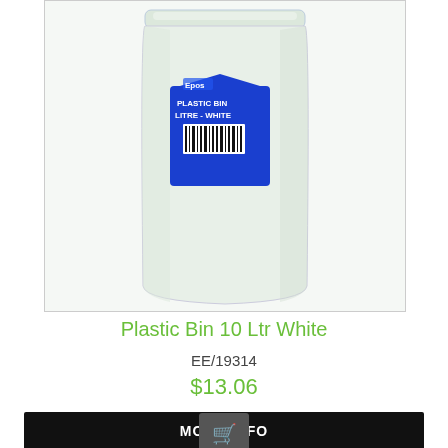[Figure (photo): A white plastic waste bin (10 litre) with a blue product label showing a barcode and text 'PLASTIC BIN - WHITE' on the front. The bin has a rounded rectangular shape and appears to have a lid.]
Plastic Bin 10 Ltr White
EE/19314
$13.06
MORE INFO